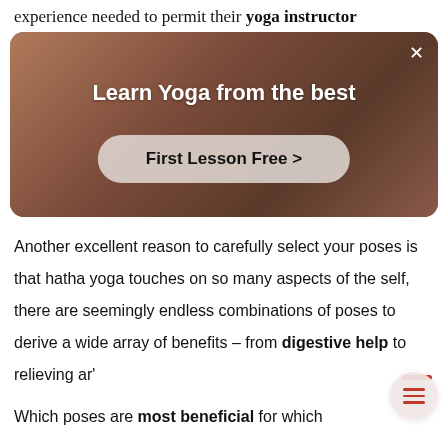experience needed to permit their yoga instructor
[Figure (advertisement): Ad banner with a yoga instructor in background. Title: 'Learn Yoga from the best'. Button: 'First Lesson Free >']
Another excellent reason to carefully select your poses is that hatha yoga touches on so many aspects of the self, there are seemingly endless combinations of poses to derive a wide array of benefits – from digestive help to relieving ar'
Which poses are most beneficial for which